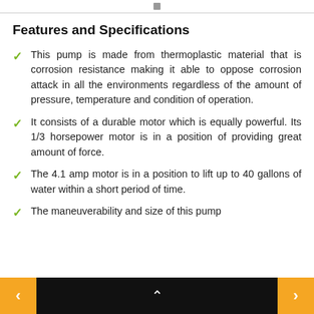Features and Specifications
This pump is made from thermoplastic material that is corrosion resistance making it able to oppose corrosion attack in all the environments regardless of the amount of pressure, temperature and condition of operation.
It consists of a durable motor which is equally powerful. Its 1/3 horsepower motor is in a position of providing great amount of force.
The 4.1 amp motor is in a position to lift up to 40 gallons of water within a short period of time.
The maneuverability and size of this pump